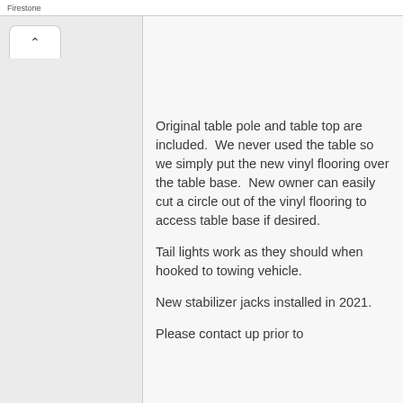Firestone
Original table pole and table top are included.  We never used the table so we simply put the new vinyl flooring over the table base.  New owner can easily cut a circle out of the vinyl flooring to access table base if desired.
Tail lights work as they should when hooked to towing vehicle.
New stabilizer jacks installed in 2021.
Please contact up prior to